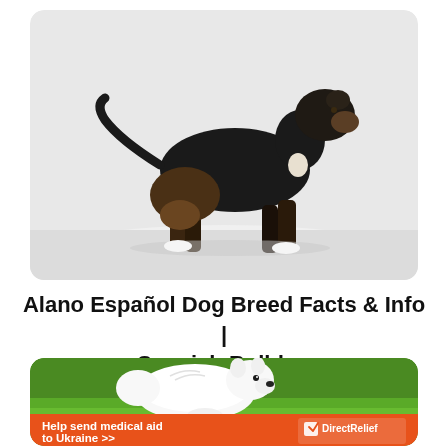[Figure (photo): A dark brown/black dog (Alano Español / Spanish Bulldog) standing in snow, viewed from the side, on a white snowy background.]
Alano Español Dog Breed Facts & Info | Spanish Bulldog
[Figure (photo): Advertisement banner showing a fluffy white Spitz-type dog lying on green grass, with orange bottom bar reading 'Help send medical aid to Ukraine >>' and Direct Relief logo.]